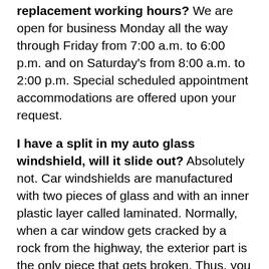What are Arizona car window repair and replacement working hours? We are open for business Monday all the way through Friday from 7:00 a.m. to 6:00 p.m. and on Saturday's from 8:00 a.m. to 2:00 p.m. Special scheduled appointment accommodations are offered upon your request.
I have a split in my auto glass windshield, will it slide out? Absolutely not. Car windshields are manufactured with two pieces of glass and with an inner plastic layer called laminated. Normally, when a car window gets cracked by a rock from the highway, the exterior part is the only piece that gets broken. Thus, you are still protected by the inner vinyl layer which is the strength of your automobile windshield and the inner glass layer. That is why auto glass windshields are regarded as to be safety glass and all automobile windshields are laminated for your security.